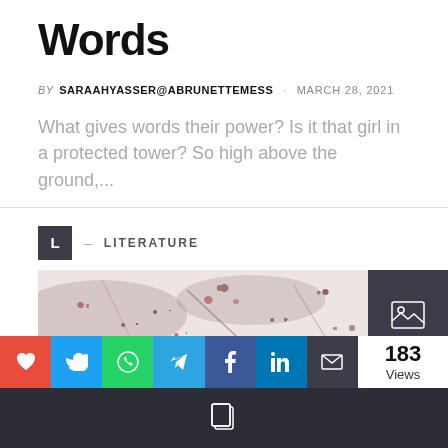Words
BY SARAAHYASSER@ABRUNETTEMESS · MARCH 28, 2021
What gives words their power? Is it that girl in a protected tower? So high above the ground,...
L — LITERATURE
[Figure (photo): Textured/speckled image strip with a dark icon box on the right showing an image placeholder icon]
Privacy & Cookies: This site uses cookies. By continuing to use this website, you agree to their use. To find out more, including privacy and
[Figure (infographic): Social share buttons: heart (red), Twitter (blue), WhatsApp (green), Telegram (light blue), Facebook (dark blue), LinkedIn (blue), Email (dark). Views count: 183 Views on right side.]
Copy icon on dark footer bar